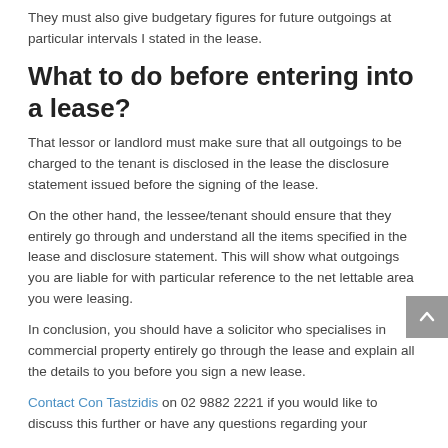They must also give budgetary figures for future outgoings at particular intervals I stated in the lease.
What to do before entering into a lease?
That lessor or landlord must make sure that all outgoings to be charged to the tenant is disclosed in the lease the disclosure statement issued before the signing of the lease.
On the other hand, the lessee/tenant should ensure that they entirely go through and understand all the items specified in the lease and disclosure statement. This will show what outgoings you are liable for with particular reference to the net lettable area you were leasing.
In conclusion, you should have a solicitor who specialises in commercial property entirely go through the lease and explain all the details to you before you sign a new lease.
Contact Con Tastzidis on 02 9882 2221 if you would like to discuss this further or have any questions regarding your ...